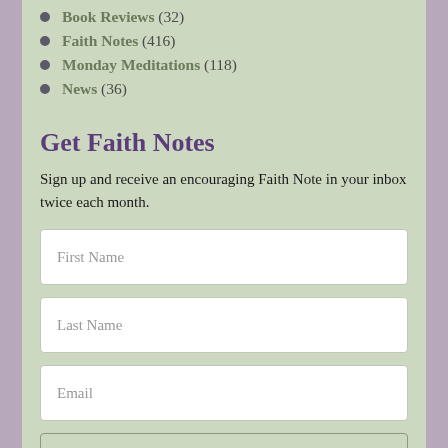Book Reviews (32)
Faith Notes (416)
Monday Meditations (118)
News (36)
Get Faith Notes
Sign up and receive an encouraging Faith Note in your inbox twice each month.
First Name
Last Name
Email
Subscribe